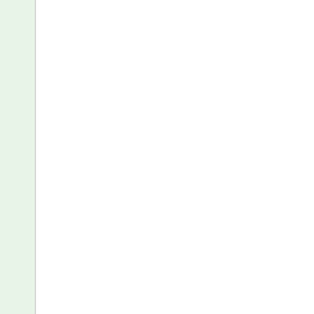[Figure (screenshot): Product listing screenshot showing Nature Made Triple Flex Triple Strength TripleFlex Joint Health 120 Caplets and Nature Made TripleFlex (Triple Flex) Joint Care Formula Triple Strength 200 Caplets with product images and descriptions]
Nature Made Triple Flex Triple Strength, TripleFlex Joint Health, 120 Caplets (link)
Nature Made Triple Flex Triple Strength, TripleFlex Joint Health, 12... - Nature Made Triple Flex Strength, Joint Health Caplets.
Nature Made TripleFlex (Triple Flex) Joint Care Formula Triple Strength, Caplets (link)
Nature Made TripleFlex (Triple Flex) Joint Care Formula Triple Strength, Caplets. ... Made TripleFlex (Triple Flex) Care Formula Strength, Caplets.